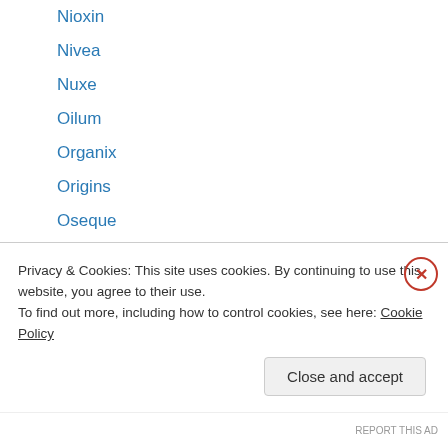Nioxin
Nivea
Nuxe
Oilum
Organix
Origins
Oseque
Otsuka
Oxypad
Palmer's
Peri Pera
Phillip Wain
Philosophy
Privacy & Cookies: This site uses cookies. By continuing to use this website, you agree to their use.
To find out more, including how to control cookies, see here: Cookie Policy
Close and accept